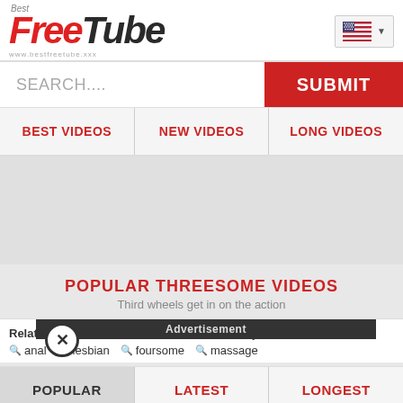[Figure (logo): Best FreeTube logo with red Free and dark Tube text, website www.bestfreetube.xxx]
SEARCH....
SUBMIT
BEST VIDEOS
NEW VIDEOS
LONG VIDEOS
POPULAR THREESOME VIDEOS
Third wheels get in on the action
Related: ... family
anal  lesbian  foursome  massage
Advertisement
POPULAR
LATEST
LONGEST